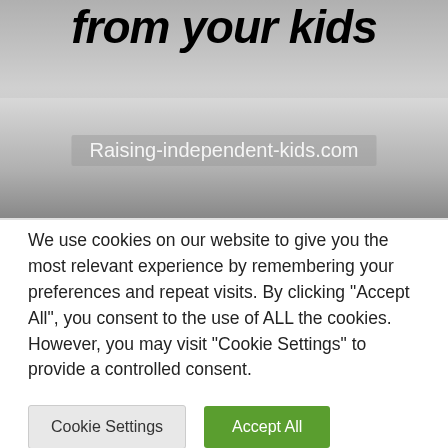[Figure (photo): Black and white photo of a child, partially cropped, with bold italic text overlaid reading 'from your kids' and a watermark 'Raising-independent-kids.com' at the bottom of the image region.]
We use cookies on our website to give you the most relevant experience by remembering your preferences and repeat visits. By clicking "Accept All", you consent to the use of ALL the cookies. However, you may visit "Cookie Settings" to provide a controlled consent.